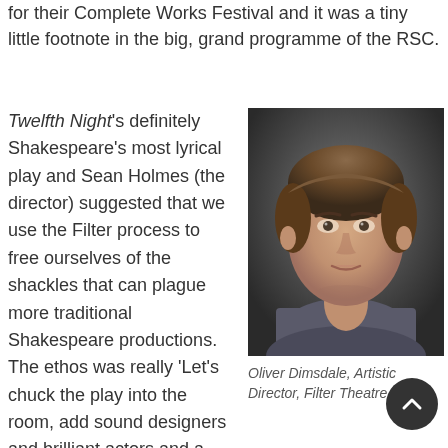for their Complete Works Festival and it was a tiny little footnote in the big, grand programme of the RSC.
Twelfth Night's definitely Shakespeare's most lyrical play and Sean Holmes (the director) suggested that we use the Filter process to free ourselves of the shackles that can plague more traditional Shakespeare productions. The ethos was really 'Let's chuck the play into the room, add sound designers and brilliant actors and a me, and let's just see what comes out of the process', and sure enough sometimes when you're using the gut and the
[Figure (photo): Headshot of Oliver Dimsdale, a man with brown hair wearing a grey t-shirt, against a dark background.]
Oliver Dimsdale, Artistic Director, Filter Theatre